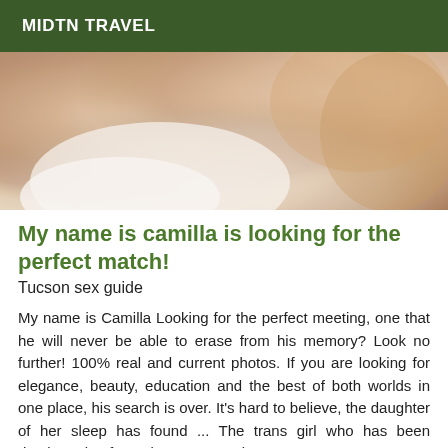MIDTN TRAVEL
[Figure (photo): Close-up photo of two people embracing, showing skin tones and a white towel or fabric.]
My name is camilla is looking for the perfect match!
Tucson sex guide
My name is Camilla Looking for the perfect meeting, one that he will never be able to erase from his memory? Look no further! 100% real and current photos. If you are looking for elegance, beauty, education and the best of both worlds in one place, his search is over. It's hard to believe, the daughter of her sleep has found ... The trans girl who has been daydreaming for so long, can't wait to